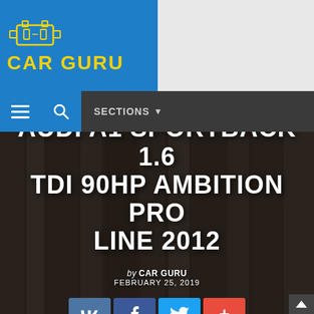[Figure (logo): CAR GURU logo with engine/OBD icon in yellow on blue background]
SECTIONS
AUDI A1 SPORTBACK 1.6 TDI 90HP AMBITION PRO LINE 2012
by CAR GURU
FEBRUARY 25, 2019
[Figure (infographic): Social share buttons: VK, Facebook, Twitter, and a plus/more button]